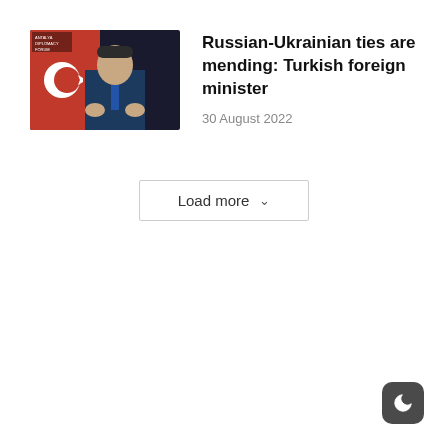[Figure (photo): Thumbnail photo of a man (Turkish foreign minister) speaking, with Turkish flag (red with white crescent) visible in background]
Russian-Ukrainian ties are mending: Turkish foreign minister
30 August 2022
Load more
[Figure (illustration): Dark mode toggle button with crescent moon icon in bottom right corner]